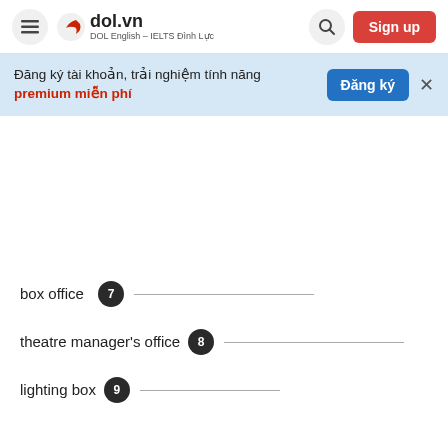dol.vn — DOL English – IELTS Đình Lực — Sign up
Đăng ký tài khoản, trải nghiệm tính năng premium miễn phí — Đăng ký
box office  7  ___
theatre manager's office  8  ___
lighting box  9  ___